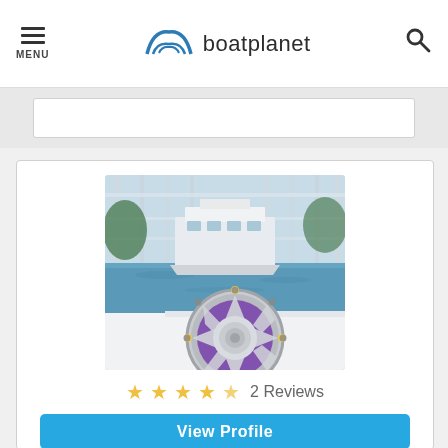MENU | boatplanet | search
[Figure (photo): A marine speaker with purple LED lighting mounted on a white boat surface, with a marina and yacht in the background]
2 Reviews
View Profile